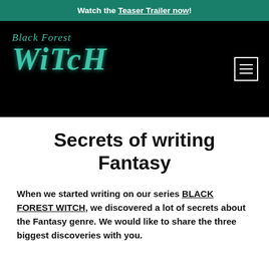Watch the Teaser Trailer now!
[Figure (logo): Black Forest Witch logo in teal/green stylized text on black background, with hamburger menu icon on the right]
Secrets of writing Fantasy
When we started writing on our series BLACK FOREST WITCH, we discovered a lot of secrets about the Fantasy genre. We would like to share the three biggest discoveries with you.